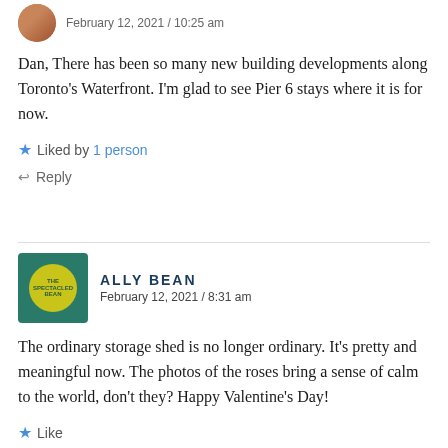February 12, 2021 / 10:25 am
Dan, There has been so many new building developments along Toronto's Waterfront. I'm glad to see Pier 6 stays where it is for now.
Liked by 1 person
Reply
ALLY BEAN
February 12, 2021 / 8:31 am
The ordinary storage shed is no longer ordinary. It's pretty and meaningful now. The photos of the roses bring a sense of calm to the world, don't they? Happy Valentine's Day!
Like
Reply